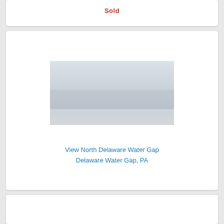Sold
[Figure (photo): Landscape photograph of a view north of Delaware Water Gap, showing a wide river valley with mountains in the background, muted blue-grey tones.]
View North Delaware Water Gap
Delaware Water Gap, PA